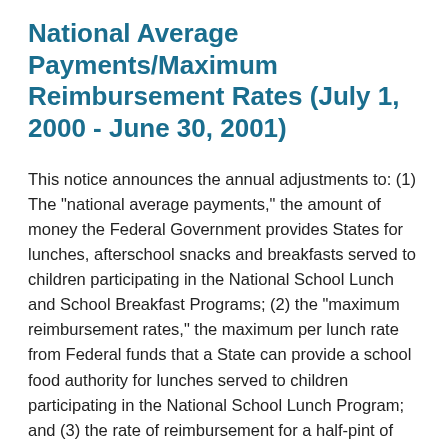National Average Payments/Maximum Reimbursement Rates (July 1, 2000 - June 30, 2001)
This notice announces the annual adjustments to: (1) The "national average payments," the amount of money the Federal Government provides States for lunches, afterschool snacks and breakfasts served to children participating in the National School Lunch and School Breakfast Programs; (2) the "maximum reimbursement rates," the maximum per lunch rate from Federal funds that a State can provide a school food authority for lunches served to children participating in the National School Lunch Program; and (3) the rate of reimbursement for a half-pint of milk served to non-needy children in a school or institution which participates in the Special Milk